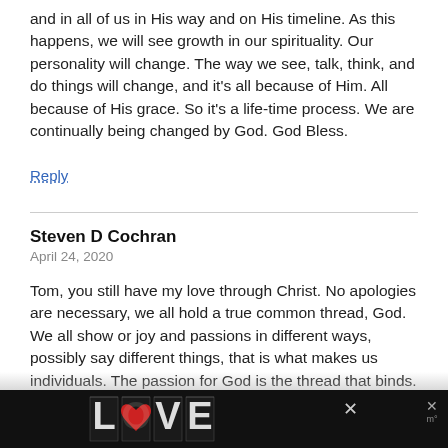and in all of us in His way and on His timeline. As this happens, we will see growth in our spirituality. Our personality will change. The way we see, talk, think, and do things will change, and it's all because of Him. All because of His grace. So it's a life-time process. We are continually being changed by God. God Bless.
Reply
Steven D Cochran
April 24, 2020
Tom, you still have my love through Christ. No apologies are necessary, we all hold a true common thread, God. We all show or joy and passions in different ways, possibly say different things, that is what makes us individuals. The passion for God is the thread that binds. I am
[Figure (illustration): LOVE text graphic with decorative black and white artistic lettering on dark background bar at bottom of page, with X close buttons]